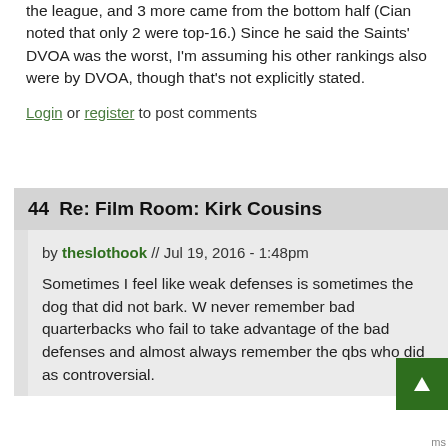the league, and 3 more came from the bottom half (Cian noted that only 2 were top-16.) Since he said the Saints' DVOA was the worst, I'm assuming his other rankings also were by DVOA, though that's not explicitly stated.
Login or register to post comments
44  Re: Film Room: Kirk Cousins
by theslothook // Jul 19, 2016 - 1:48pm
Sometimes I feel like weak defenses is sometimes the dog that did not bark. W never remember bad quarterbacks who fail to take advantage of the bad defenses and almost always remember the qbs who did as controversial.